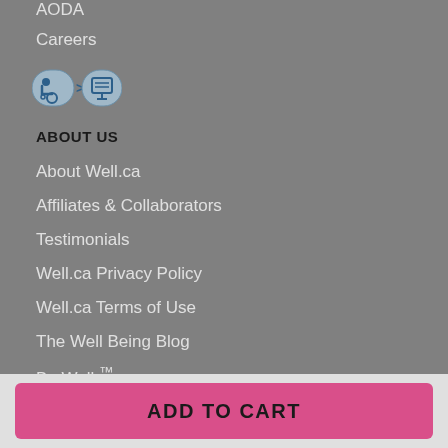AODA
Careers
[Figure (logo): Accessibility icon showing wheelchair symbol with arrow pointing to computer screen, accessibility logo]
ABOUT US
About Well.ca
Affiliates & Collaborators
Testimonials
Well.ca Privacy Policy
Well.ca Terms of Use
The Well Being Blog
Be Well ™
LANGUAGE
✔ Canada - English
ADD TO CART